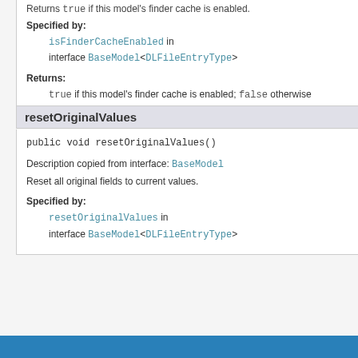Returns true if this model's finder cache is enabled.
Specified by:
isFinderCacheEnabled in interface BaseModel<DLFileEntryType>
Returns:
true if this model's finder cache is enabled; false otherwise
resetOriginalValues
public void resetOriginalValues()
Description copied from interface: BaseModel
Reset all original fields to current values.
Specified by:
resetOriginalValues in interface BaseModel<DLFileEntryType>